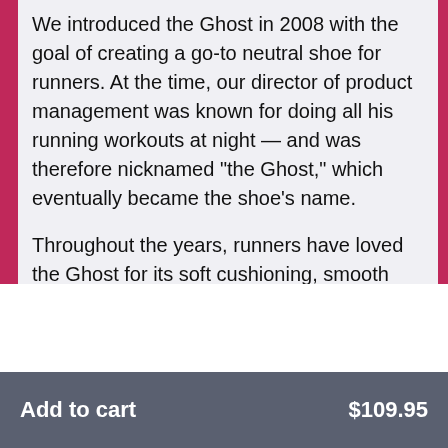We introduced the Ghost in 2008 with the goal of creating a go-to neutral shoe for runners. At the time, our director of product management was known for doing all his running workouts at night — and was therefore nicknamed "the Ghost," which eventually became the shoe's name.
Throughout the years, runners have loved the Ghost for its soft cushioning, smooth transitions, and its reliability as a daily trainer.
Add to cart   $109.95